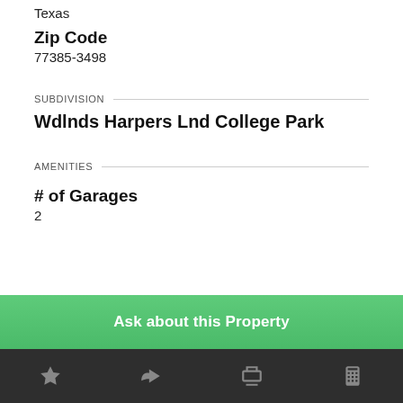Texas
Zip Code
77385-3498
SUBDIVISION
Wdlnds Harpers Lnd College Park
AMENITIES
# of Garages
2
Ask about this Property